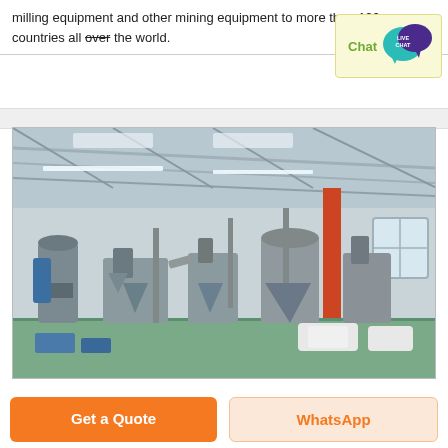milling equipment and other mining equipment to more than 100 countries all over the world.
[Figure (screenshot): Live chat widget with green 'Chat' text and a teal/purple speech bubble icon labeled 'LIVE CHAT' on a light yellow background]
[Figure (photo): Industrial factory interior showing multiple large grey milling/grinding machines and industrial equipment on a green floor under a high steel-framed roof with skylights]
Get a Quote
WhatsApp